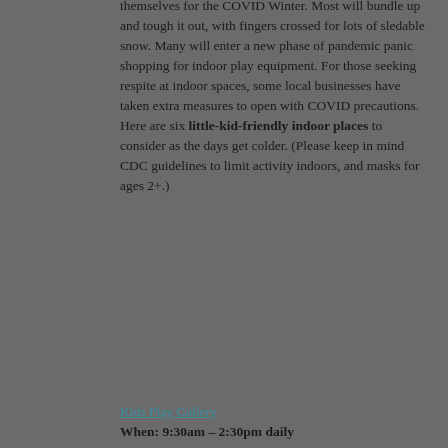themselves for the COVID Winter. Most will bundle up and tough it out, with fingers crossed for lots of sledable snow. Many will enter a new phase of pandemic panic shopping for indoor play equipment. For those seeking respite at indoor spaces, some local businesses have taken extra measures to open with COVID precautions. Here are six little-kid-friendly indoor places to consider as the days get colder. (Please keep in mind CDC guidelines to limit activity indoors, and masks for ages 2+.)
Kids Play Gallery
When: 9:30am – 2:30pm daily